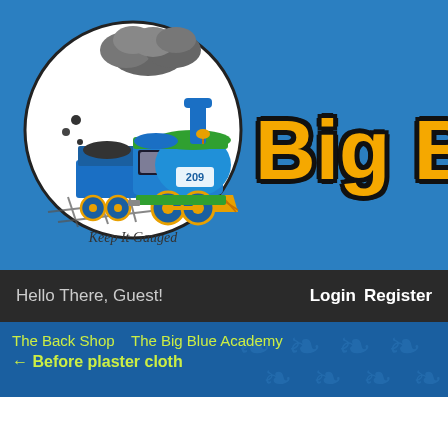[Figure (logo): Circular logo with a cartoon blue and green steam locomotive (number 209) pulling a coal car, with gray smoke clouds, on railroad tracks. Text at the bottom reads 'Keep It Gauged'. Blue background with partial site title 'Big B' visible in large orange bold font with black outline.]
Hello There, Guest!  Login  Register
The Back Shop  The Big Blue Academy  ← Before plaster cloth